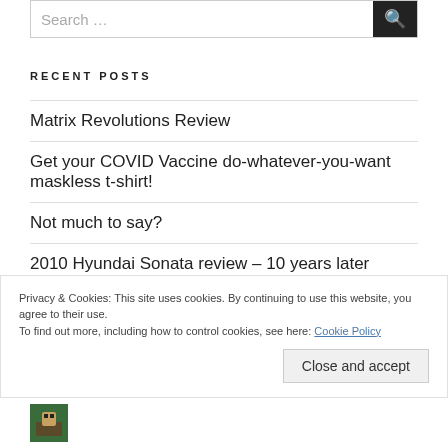Search …
RECENT POSTS
Matrix Revolutions Review
Get your COVID Vaccine do-whatever-you-want maskless t-shirt!
Not much to say?
2010 Hyundai Sonata review – 10 years later
Privacy & Cookies: This site uses cookies. By continuing to use this website, you agree to their use.
To find out more, including how to control cookies, see here: Cookie Policy
Close and accept